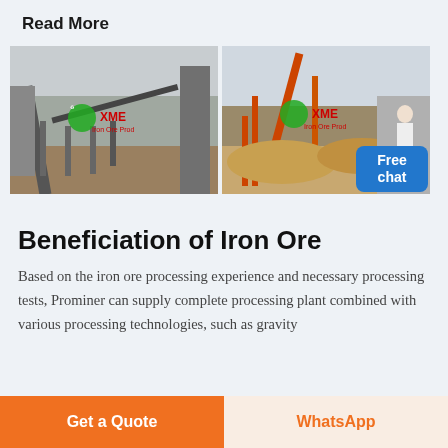Read More
[Figure (photo): Two side-by-side photos of mining/ore processing plant facilities with XME watermark logos. Left photo shows a large industrial conveyor structure at a mine site. Right photo shows orange-red mining equipment with aggregate piles. A customer service person and 'Free chat' button overlay the right photo.]
Beneficiation of Iron Ore
Based on the iron ore processing experience and necessary processing tests, Prominer can supply complete processing plant combined with various processing technologies, such as gravity